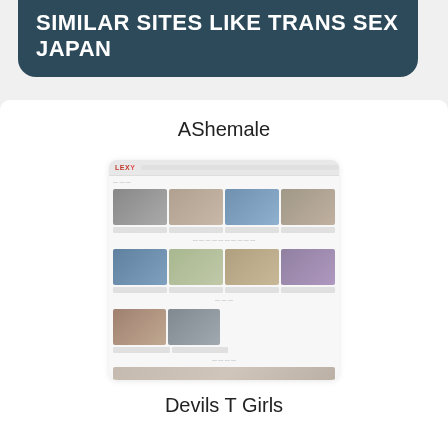SIMILAR SITES LIKE TRANS SEX JAPAN
AShemale
[Figure (screenshot): Blurred screenshot of AShemale website showing a grid of video thumbnails]
Devils T Girls